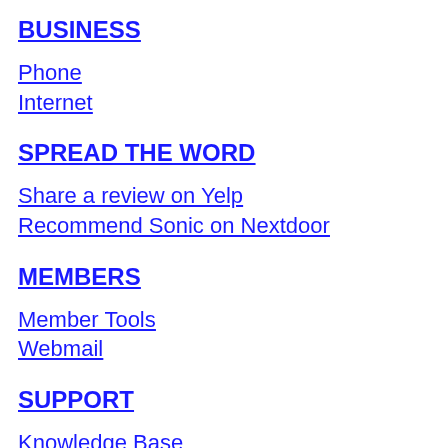BUSINESS
Phone
Internet
SPREAD THE WORD
Share a review on Yelp
Recommend Sonic on Nextdoor
MEMBERS
Member Tools
Webmail
SUPPORT
Knowledge Base
Forums
Setup Guides & Product Info
Sonic Speed Test
Message Of The Day
International Calling Rates